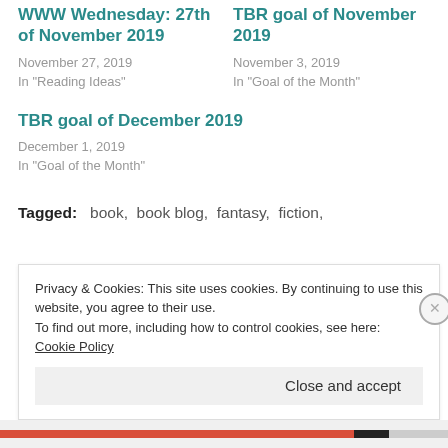WWW Wednesday: 27th of November 2019
November 27, 2019
In "Reading Ideas"
TBR goal of November 2019
November 3, 2019
In "Goal of the Month"
TBR goal of December 2019
December 1, 2019
In "Goal of the Month"
Tagged: book, book blog, fantasy, fiction,
Privacy & Cookies: This site uses cookies. By continuing to use this website, you agree to their use.
To find out more, including how to control cookies, see here: Cookie Policy
Close and accept